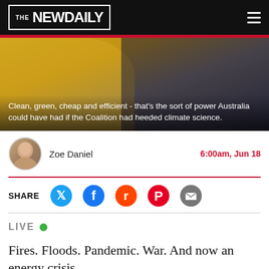THE NEWDAILY
[Figure (photo): Photo of people in yellow and dark jackets, hero image for article about energy crisis]
Clean, green, cheap and efficient - that's the sort of power Australia could have had if the Coalition had heeded climate science.
Zoe Daniel   6:00am, Jun 18
SHARE  [Twitter] [Facebook] [Reddit] [Pinterest] [Email]
LIVE •
Fires. Floods. Pandemic. War. And now an energy crisis
These are wearing times for our communities, with households and businesses, grappling with rising inflation